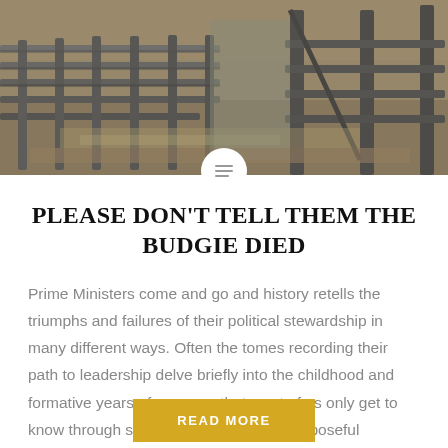[Figure (photo): Photograph of metal cattle yard gates and fencing structures, with dry ground and straw/debris visible]
PLEASE DON'T TELL THEM THE BUDGIE DIED
Prime Ministers come and go and history retells the triumphs and failures of their political stewardship in many different ways. Often the tomes recording their path to leadership delve briefly into the childhood and formative years of a person that most of us only get to know through study, media reports or purposeful discussion. As…